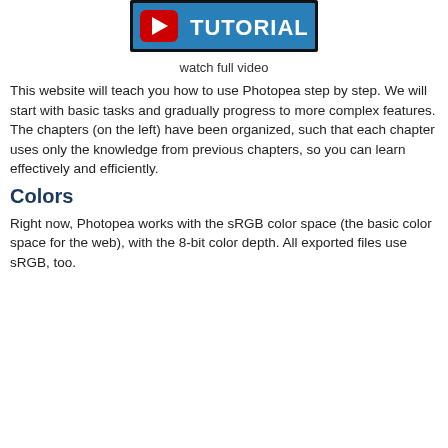[Figure (screenshot): YouTube Tutorial button/banner with red YouTube play button icon and white bold text 'TUTORIAL' on a blue background, inside a black border frame]
watch full video
This website will teach you how to use Photopea step by step. We will start with basic tasks and gradually progress to more complex features. The chapters (on the left) have been organized, such that each chapter uses only the knowledge from previous chapters, so you can learn effectively and efficiently.
Colors
Right now, Photopea works with the sRGB color space (the basic color space for the web), with the 8-bit color depth. All exported files use sRGB, too.